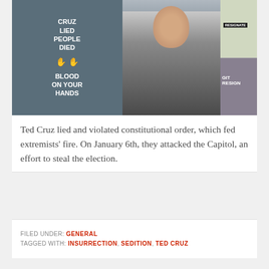[Figure (photo): Photo collage: left panel shows a dark gravestone with white text reading 'CRUZ LIED PEOPLE DIED BLOOD ON YOUR HANDS' with red handprints; center shows Ted Cruz in a dark suit with striped tie; right panels show protest signs reading 'RESIGNATE' and 'GIT RESIGN' outside a building.]
Ted Cruz lied and violated constitutional order, which fed extremists' fire. On January 6th, they attacked the Capitol, an effort to steal the election.
FILED UNDER: GENERAL
TAGGED WITH: INSURRECTION, SEDITION, TED CRUZ